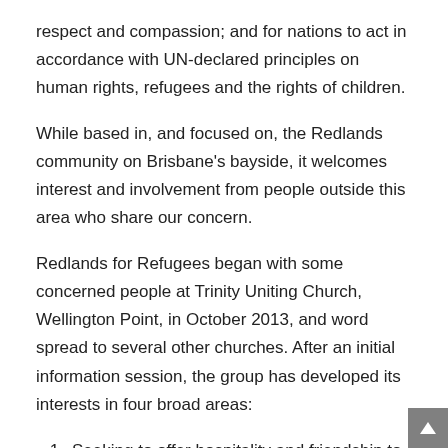respect and compassion; and for nations to act in accordance with UN-declared principles on human rights, refugees and the rights of children.
While based in, and focused on, the Redlands community on Brisbane's bayside, it welcomes interest and involvement from people outside this area who share our concern.
Redlands for Refugees began with some concerned people at Trinity Uniting Church, Wellington Point, in October 2013, and word spread to several other churches. After an initial information session, the group has developed its interests in four broad areas:
Seeking to offer hospitality and friendship to asylum seekers in the community. As there are virtually no asylum seekers being housed in the Redlands, we linked up with the Romero Centre, an asylum seeker support agency run by the Sisters